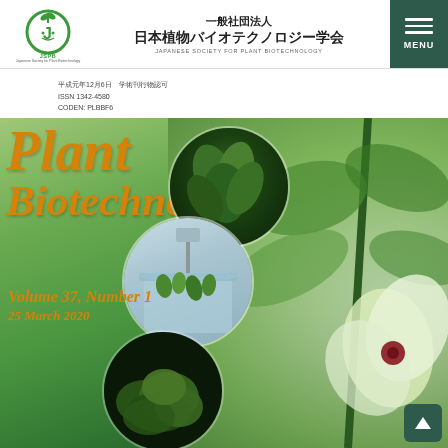[Figure (logo): JSPB logo - green circular logo with plant sprout and face]
一般社団法人 日本植物バイオテクノロジー学会 JAPANESE SOCIETY FOR PLANT BIOTECHNOLOGY
平成元年12月6日　学術刊行物認可
ISSN 1342-4580
CODEN: PLBBF6
[Figure (photo): Plant Biotechnology journal cover with circular plant photos on green background, showing plants in tissue culture and hibiscus flower]
Plant Biotechnology
Volume 37, Number 1
25 March 2020